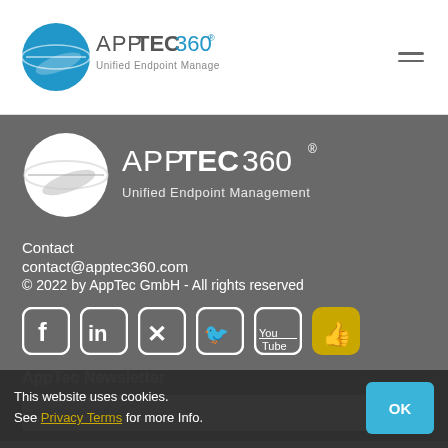[Figure (logo): AppTec360 Unified Endpoint Management logo in header, blue sphere with APP TEC 360 text]
[Figure (logo): AppTec360 Unified Endpoint Management large white logo on grey footer background]
Contact
contact@apptec360.com
© 2022 by AppTec GmbH - All rights reserved
[Figure (infographic): Social media icons row: Facebook, LinkedIn, XING, Twitter, YouTube (grey background rounded squares), and a yellow thumbs-up icon]
AppTec Newsletter
Enter email address
This website uses cookies. See Privacy Terms for more Info.